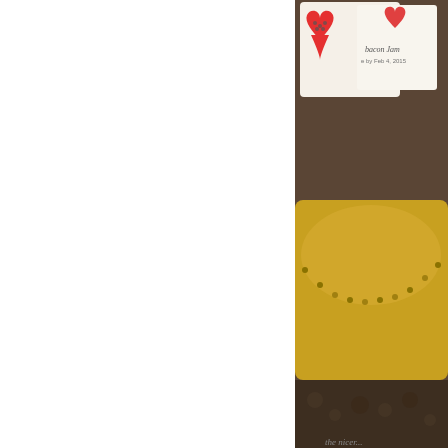[Figure (photo): Photo of handmade heart-shaped gift tags with text 'Bacon Jam' and 'by Feb 4, 2015', displayed on a decorative yellow plate with jeweled rim, on a dark patterned background.]
I attached a gift card to the tag and included a jar o
[Figure (photo): Photo of a decorative arrangement with colorful flowers, gold and purple ornaments on a dark surface.]
•
Privacy & Cookies: This site uses cookies. By continuing to use this website, you agree to their use.
To find out more, including how to control cookies, see here: Cookie Policy
Close and accept